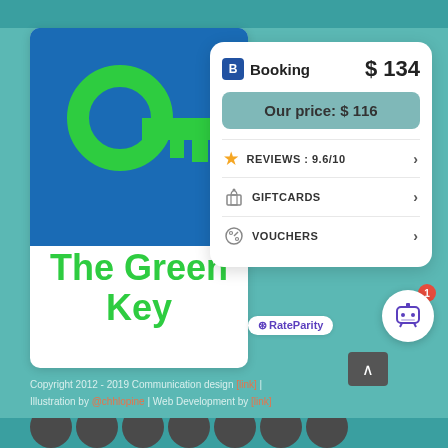[Figure (screenshot): Hotel booking comparison widget showing The Green Key hotel. Booking.com price $134, Our price $116. Menu items: Reviews 9.6/10, Giftcards, Vouchers. RateParity branding visible.]
The Green Key
Booking $134
Our price: $ 116
REVIEWS: 9.6/10
GIFTCARDS
VOUCHERS
Copyright 2012 - 2019 Communication design [link] | Illustration by [link] | Web Development by [link]